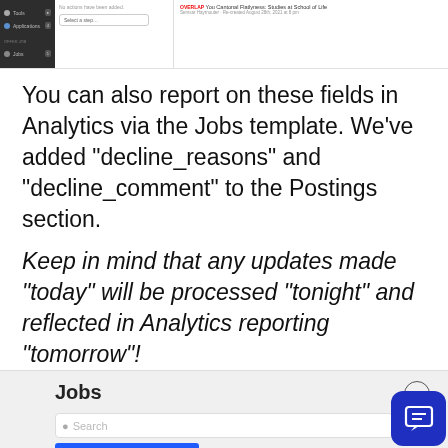[Figure (screenshot): Screenshot of a software UI showing a sidebar navigation on the left (dark), a middle panel, and a right content area with a red tag label and title text about 'School of Life'.]
You can also report on these fields in Analytics via the Jobs template. We've added "decline_reasons" and "decline_comment" to the Postings section.
Keep in mind that any updates made "today" will be processed "tonight" and reflected in Analytics reporting "tomorrow"!
[Figure (screenshot): Screenshot of a Jobs analytics template panel showing a search box and tabs: All Fields (active, blue), Dimensions, Measures. A blue chat button is visible in the lower right corner.]